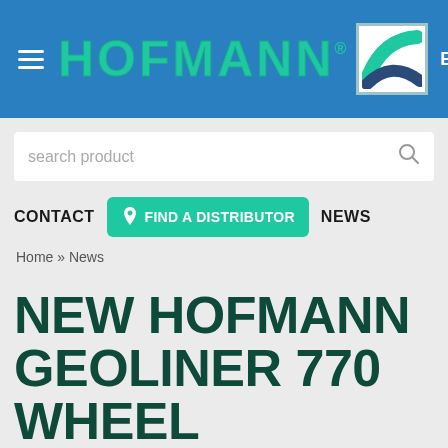[Figure (logo): Hofmann brand header with hamburger menu, HOFMANN logo in teal, wave icon, and EN language selector on blue background]
search product
CONTACT   FIND A DISTRIBUTOR   NEWS
Home » News
NEW HOFMANN GEOLINER 770 WHEEL ALIGNER OFFERS SHOPS IMPROVED